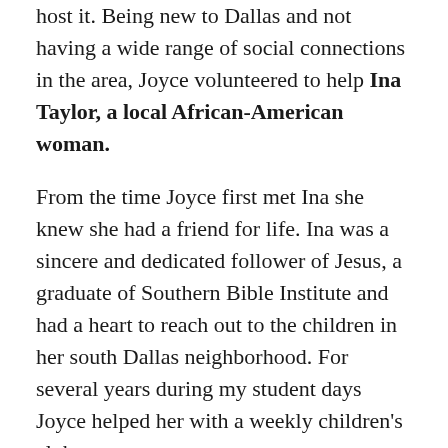host it. Being new to Dallas and not having a wide range of social connections in the area, Joyce volunteered to help Ina Taylor, a local African-American woman.
From the time Joyce first met Ina she knew she had a friend for life. Ina was a sincere and dedicated follower of Jesus, a graduate of Southern Bible Institute and had a heart to reach out to the children in her south Dallas neighborhood. For several years during my student days Joyce helped her with a weekly children's club.
One Sunday Ina invited us to attend her local church and come to her house for dinner afterwards. It was one of my first, but not last, experiences visiting a predominantly African-American church. We were warmly welcomed and of course were treated to a fabulous meal afterwards. You would never have met a woman with a larger heart than